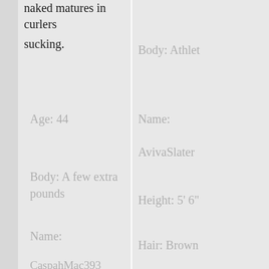naked matures in curlers sucking.
Age: 44
Body: A few extra pounds
Name:
CaspahMac393
Body: Athlet
Name:
AvivaSlater
Height: 5' 6"
Hair: Brown
Marital S...